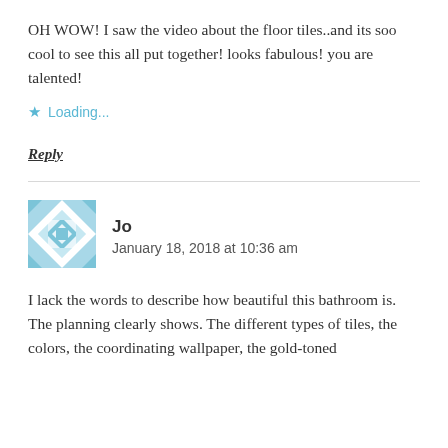OH WOW! I saw the video about the floor tiles..and its soo cool to see this all put together! looks fabulous! you are talented!
★ Loading...
Reply
[Figure (illustration): Decorative geometric quilt-pattern avatar icon in light blue and white]
Jo
January 18, 2018 at 10:36 am
I lack the words to describe how beautiful this bathroom is. The planning clearly shows. The different types of tiles, the colors, the coordinating wallpaper, the gold-toned